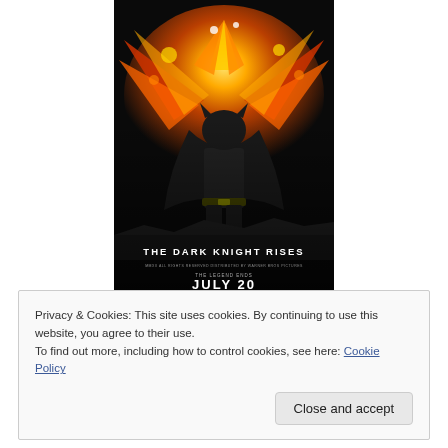[Figure (photo): Movie poster for 'The Dark Knight Rises' showing Batman standing in front of a large fiery explosion shaped like bat wings. Text at bottom reads 'THE DARK KNIGHT RISES' and 'JULY 20'.]
Privacy & Cookies: This site uses cookies. By continuing to use this website, you agree to their use.
To find out more, including how to control cookies, see here: Cookie Policy
Close and accept